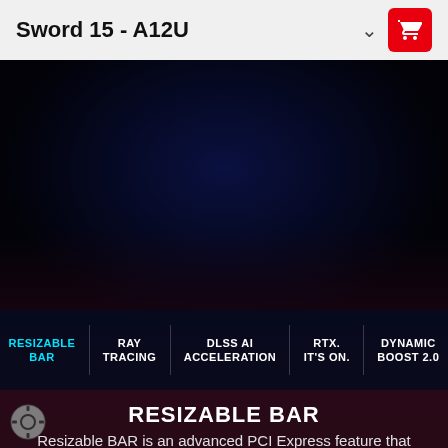Sword 15 - A12U
[Figure (screenshot): Dark gaming laptop promotional area with deep navy/black background]
RESIZABLE BAR | RAY TRACING | DLSS AI ACCELERATION | RTX. IT'S ON. | DYNAMIC BOOST 2.0
RESIZABLE BAR
Resizable BAR is an advanced PCI Express feature that enables the CPU to access the entire GPU frame buffer at once and improve performance.